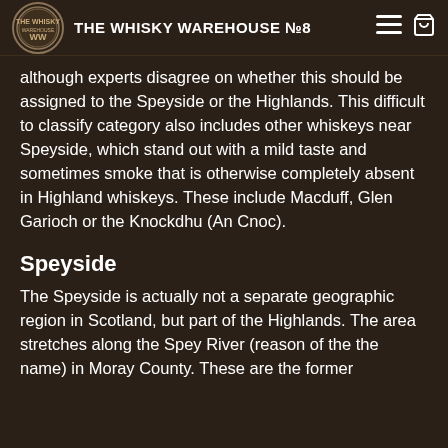THE WHISKY WAREHOUSE №8
although experts disagree on whether this should be assigned to the Speyside or the Highlands. This difficult to classify category also includes other whiskeys near Speyside, which stand out with a mild taste and sometimes smoke that is otherwise completely absent in Highland whiskeys. These include Macduff, Glen Garioch or the Knockdhu (An Cnoc).
Speyside
The Speyside is actually not a separate geographic region in Scotland, but part of the Highlands. The area stretches along the Spey River (reason of the the name) in Moray County. These are the former